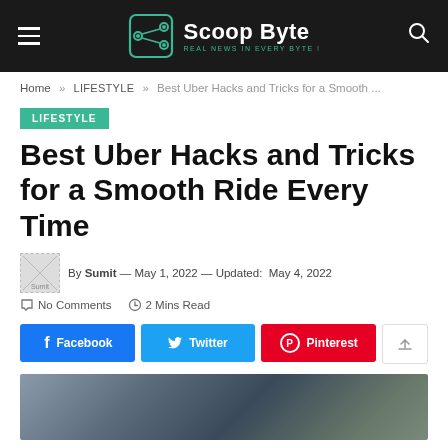Scoop Byte — REAL NEWS IN EVERY BYTE !
Home » LIFESTYLE » Best Uber Hacks and Tricks for a Smooth ...
LIFESTYLE
Best Uber Hacks and Tricks for a Smooth Ride Every Time
By Sumit — May 1, 2022 — Updated: May 4, 2022
No Comments   2 Mins Read
Facebook   Twitter   Pinterest
[Figure (photo): Blurred photo of a car or road scene, used as article hero image]